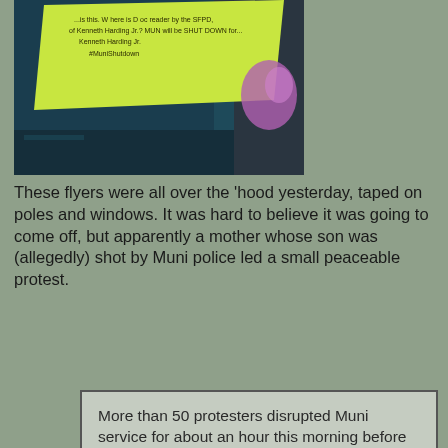[Figure (photo): A yellow/green flyer taped to a dark surface with text about Muni shutdown and #MuniShutdown hashtag. Partially visible protest flyer.]
These flyers were all over the 'hood yesterday, taped on poles and windows. It was hard to believe it was going to come off, but apparently a mother whose son was (allegedly) shot by Muni police led a small peaceable protest.
More than 50 protesters disrupted Muni service for about an hour this morning before peacefully leaving to march down Market, in commemoration of the death of Kenneth Harding, Jr., on July 16, 2011.

...Some passengers were angered, while most took literature from protesters on their way to catch another train. A few joined in the picket line. Drivers, meanwhile, were mostly nonchalant. "I'm